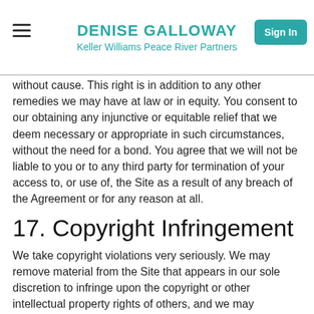DENISE GALLOWAY
Keller Williams Peace River Partners
without cause. This right is in addition to any other remedies we may have at law or in equity. You consent to our obtaining any injunctive or equitable relief that we deem necessary or appropriate in such circumstances, without the need for a bond. You agree that we will not be liable to you or to any third party for termination of your access to, or use of, the Site as a result of any breach of the Agreement or for any reason at all.
17. Copyright Infringement
We take copyright violations very seriously. We may remove material from the Site that appears in our sole discretion to infringe upon the copyright or other intellectual property rights of others, and we may terminate the access rights of any infringer. If you believe a work protected by a U.S. copyright you own has been posted on the Site without authorization, or has been mistakenly removed, you may notify our copyright agent as provided below, and provide the